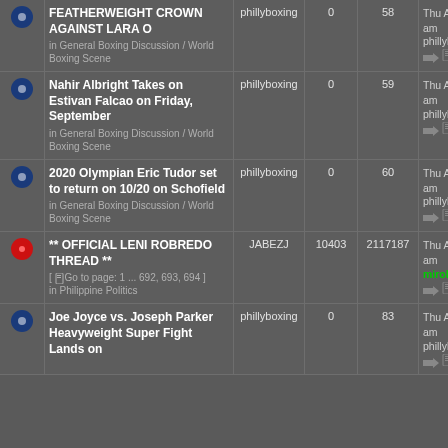|  | Topic | Author | Replies | Views | Last Post |
| --- | --- | --- | --- | --- | --- |
| [icon] | FEATHERWEIGHT CROWN AGAINST LARA O
in General Boxing Discussion / World Boxing Scene | phillyboxing | 0 | 58 | Thu Aug 25, 2022 11:01 am
phillyboxing |
| [icon] | Nahir Albright Takes on Estivan Falcao on Friday, September
in General Boxing Discussion / World Boxing Scene | phillyboxing | 0 | 59 | Thu Aug 25, 2022 10:34 am
phillyboxing |
| [icon] | 2020 Olympian Eric Tudor set to return on 10/20 on Schofield
in General Boxing Discussion / World Boxing Scene | phillyboxing | 0 | 60 | Thu Aug 25, 2022 10:22 am
phillyboxing |
| [icon-red] | ** OFFICIAL LENI ROBREDO THREAD **
[ Go to page: 1 ... 692, 693, 694 ]
in Philippine Politics | JABEZJ | 10403 | 2117187 | Thu Aug 25, 2022 9:56 am
mirob-jang |
| [icon] | Joe Joyce vs. Joseph Parker Heavyweight Super Fight Lands on | phillyboxing | 0 | 83 | Thu Aug 25, 2022 4:55 am
phillyboxing |